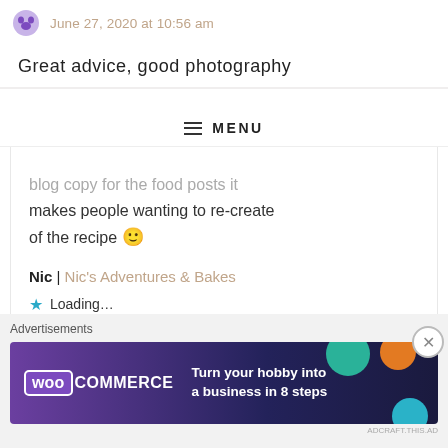June 27, 2020 at 10:56 am
Great advice, good photography
MENU
blog copy for the food posts it makes people wanting to re-create of the recipe 🙂
Nic | Nic's Adventures & Bakes
★ Loading...
Reply
Advertisements
[Figure (other): WooCommerce advertisement banner: 'Turn your hobby into a business in 8 steps' with teal, orange and blue decorative circles on dark purple/navy background]